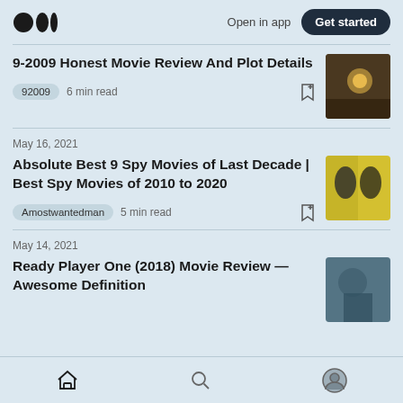Medium app header — Open in app | Get started
9-2009 Honest Movie Review And Plot Details
92009  6 min read
May 16, 2021
Absolute Best 9 Spy Movies of Last Decade | Best Spy Movies of 2010 to 2020
Amostwantedman  5 min read
May 14, 2021
Ready Player One (2018) Movie Review — Awesome Definition
Home | Search | Profile